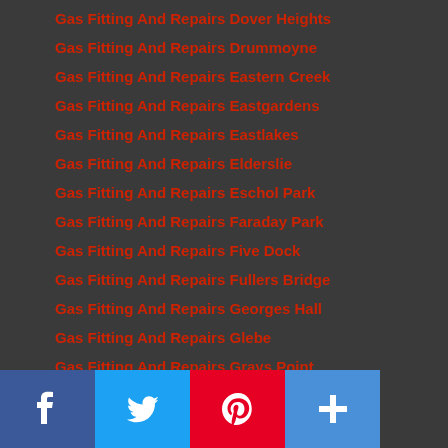Gas Fitting And Repairs Dover Heights
Gas Fitting And Repairs Drummoyne
Gas Fitting And Repairs Eastern Creek
Gas Fitting And Repairs Eastgardens
Gas Fitting And Repairs Eastlakes
Gas Fitting And Repairs Elderslie
Gas Fitting And Repairs Eschol Park
Gas Fitting And Repairs Faraday Park
Gas Fitting And Repairs Five Dock
Gas Fitting And Repairs Fullers Bridge
Gas Fitting And Repairs Georges Hall
Gas Fitting And Repairs Glebe
Gas Fitting And Repairs Grays Point
Gas Fitting And Repairs Greendale
Gas Fitting And Repairs Grose Vale
Gas Fitting And Repairs Harrington Park
Gas Fitting And Repairs Hassall Grove
Gas Fitting And Repairs Henley
Gas Fitting And Repairs Hunters Bay